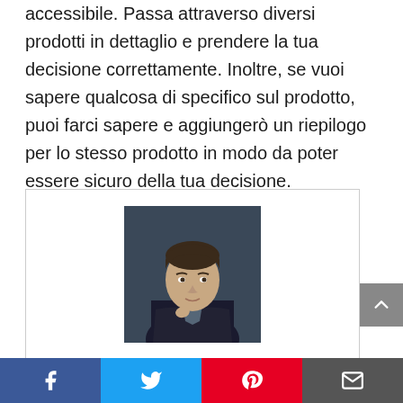accessibile. Passa attraverso diversi prodotti in dettaglio e prendere la tua decisione correttamente. Inoltre, se vuoi sapere qualcosa di specifico sul prodotto, puoi farci sapere e aggiungerò un riepilogo per lo stesso prodotto in modo da poter essere sicuro della tua decisione.
[Figure (photo): Headshot photo of Luigi Costa, a young man in a dark jacket against a dark background]
Luigi Costa
"Pioniere di Internet. Travelaholic. Appassionato evangelizzatore dei social media. Appassionato televisivo"